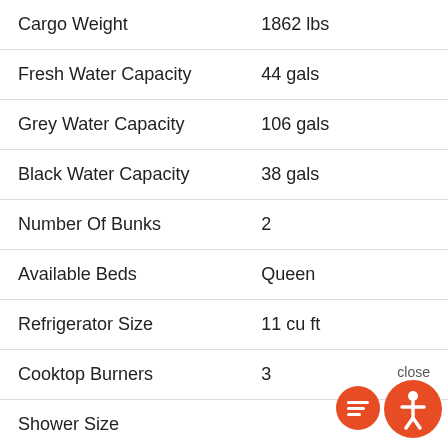| Specification | Value |
| --- | --- |
| Cargo Weight | 1862 lbs |
| Fresh Water Capacity | 44 gals |
| Grey Water Capacity | 106 gals |
| Black Water Capacity | 38 gals |
| Number Of Bunks | 2 |
| Available Beds | Queen |
| Refrigerator Size | 11 cu ft |
| Cooktop Burners | 3 |
| Shower Size |  |
| Number of A |  |
| AC BTU |  |
| Awning Info | 20' Power with LED Light |
[Figure (illustration): Chat popup with avatar of a woman and text 'Hi there, have a question? Text us here.' with a close button, overlaid on the table. Orange accessibility icon button in bottom right.]